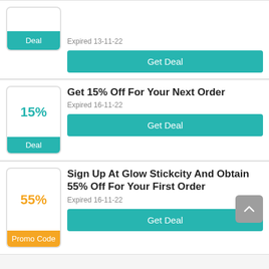[Figure (screenshot): Partial deal card — teal 'Deal' badge box partially visible at top, with 'Get Deal' teal button]
Expired 13-11-22
Get Deal
Get 15% Off For Your Next Order
Expired 16-11-22
Get Deal
Sign Up At Glow Stickcity And Obtain 55% Off For Your First Order
Expired 16-11-22
Get Deal